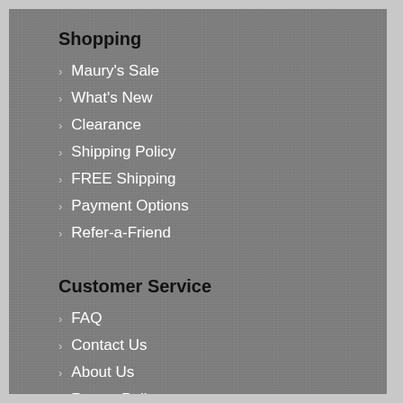Shopping
Maury's Sale
What's New
Clearance
Shipping Policy
FREE Shipping
Payment Options
Refer-a-Friend
Customer Service
FAQ
Contact Us
About Us
Return Policy
How to Order